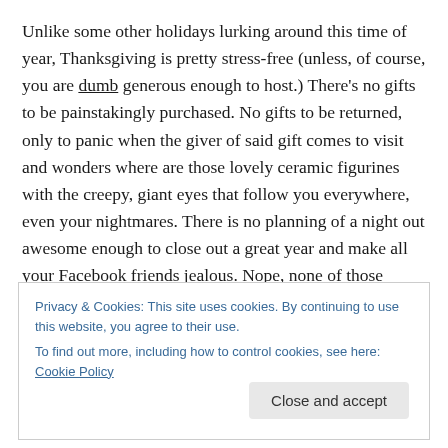Unlike some other holidays lurking around this time of year, Thanksgiving is pretty stress-free (unless, of course, you are dumb generous enough to host.) There's no gifts to be painstakingly purchased. No gifts to be returned, only to panic when the giver of said gift comes to visit and wonders where are those lovely ceramic figurines with the creepy, giant eyes that follow you everywhere, even your nightmares. There is no planning of a night out awesome enough to close out a great year and make all your Facebook friends jealous. Nope, none of those annoying
Privacy & Cookies: This site uses cookies. By continuing to use this website, you agree to their use.
To find out more, including how to control cookies, see here: Cookie Policy